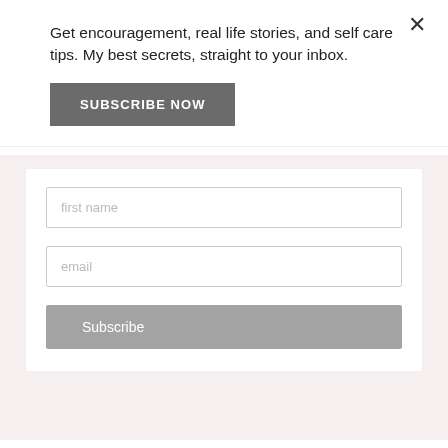Get encouragement, real life stories, and self care tips. My best secrets, straight to your inbox.
SUBSCRIBE NOW
[Figure (screenshot): Email subscription form with first name and email input fields and a Subscribe button on a light pink background]
popular posts
[Figure (photo): Photo of a phone and earphones on a light surface]